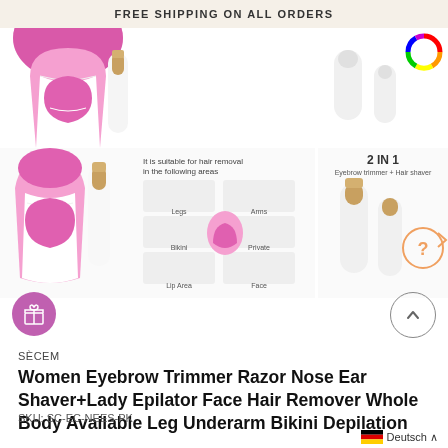FREE SHIPPING ON ALL ORDERS
[Figure (photo): Product images of pink epilator and white shaver devices, product collage showing usage areas and 2-in-1 features]
SÈCEM
Women Eyebrow Trimmer Razor Nose Ear Shaver+Lady Epilator Face Hair Remover Whole Body Available Leg Underarm Bikini Depilation
SKU: SC-EC-NEES-PK